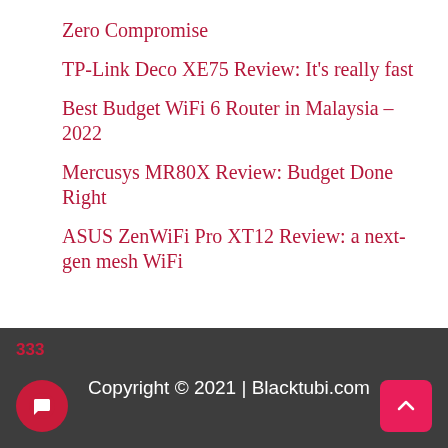Zero Compromise
TP-Link Deco XE75 Review: It's really fast
Best Budget WiFi 6 Router in Malaysia – 2022
Mercusys MR80X Review: Budget Done Right
ASUS ZenWiFi Pro XT12 Review: a next-gen mesh WiFi
333 Copyright © 2021 | Blacktubi.com